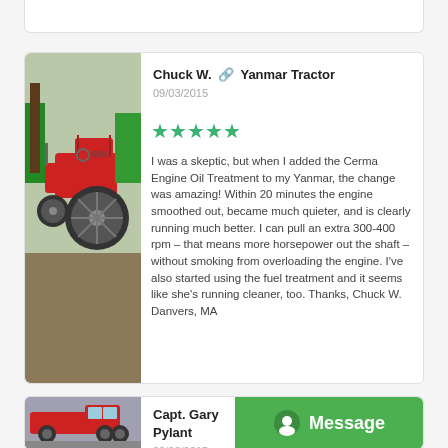[Figure (photo): Red Yanmar tractor parked outdoors]
Chuck W. 🔗 Yanmar Tractor
09/03/2015
★★★★★
I was a skeptic, but when I added the Cerma Engine Oil Treatment to my Yanmar, the change was amazing! Within 20 minutes the engine smoothed out, became much quieter, and is clearly running much better. I can pull an extra 300-400 rpm – that means more horsepower out the shaft – without smoking from overloading the engine. I've also started using the fuel treatment and it seems like she's running cleaner, too. Thanks, Chuck W. Danvers, MA
[Figure (photo): Red pickup truck parked]
Capt. Gary Pylant
09/03/2015